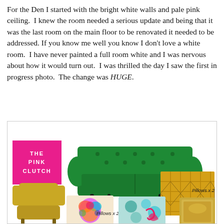For the Den I started with the bright white walls and pale pink ceiling.  I knew the room needed a serious update and being that it was the last room on the main floor to be renovated it needed to be addressed. If you know me well you know I don't love a white room.  I have never painted a full room white and I was nervous about how it would turn out.  I was thrilled the day I saw the first in progress photo.  The change was HUGE.
[Figure (illustration): Interior design mood board for a den featuring: a hot pink 'The Pink Clutch' logo square, a green tufted chesterfield sofa, a yellow/mustard wingback armchair, yellow patterned fabric pillows (x2), colorful abstract pillows (x2), teal/blue patterned pillows, and a gold velvet pillow.]